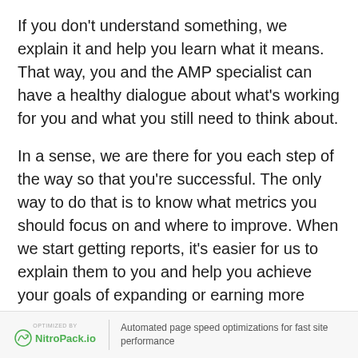If you don't understand something, we explain it and help you learn what it means. That way, you and the AMP specialist can have a healthy dialogue about what's working for you and what you still need to think about.
In a sense, we are there for you each step of the way so that you're successful. The only way to do that is to know what metrics you should focus on and where to improve. When we start getting reports, it's easier for us to explain them to you and help you achieve your goals of expanding or earning more revenue.
OPTIMIZED BY NitroPack.io | Automated page speed optimizations for fast site performance